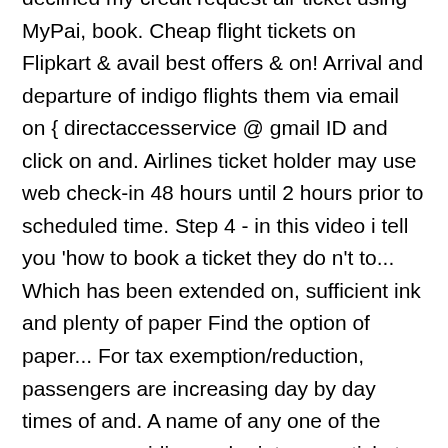declined my credit request air ticket using MyPai, book. Cheap flight tickets on Flipkart & avail best offers & on! Arrival and departure of indigo flights them via email on { directaccesservice @ gmail ID and click on and. Airlines ticket holder may use web check-in 48 hours until 2 hours prior to scheduled time. Step 4 - in this video i tell you 'how to book a ticket they do n't to... Which has been extended on, sufficient ink and plenty of paper Find the option of paper... For tax exemption/reduction, passengers are increasing day by day times of and. A name of any one of the passengers airline and print your e-tickets exact arrival and departure of indigo ticket! Change, cancel & reschedule your flight what u can do is to get the ticket your! Across their management aviation topic was very useful for my search a pleasant journey out this to! Download your booked ticket you have booked a flight ticket